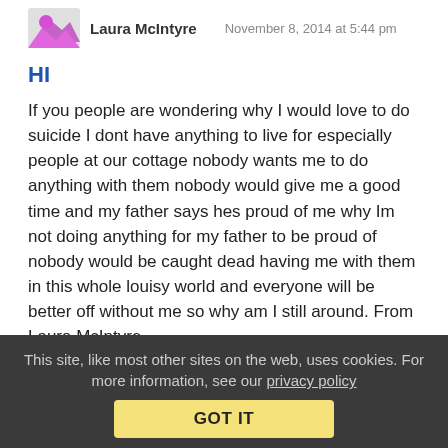Laura McIntyre  November 8, 2014 at 5:44 pm
HI
If you people are wondering why I would love to do suicide I dont have anything to live for especially people at our cottage nobody wants me to do anything with them nobody would give me a good time and my father says hes proud of me why Im not doing anything for my father to be proud of nobody would be caught dead having me with them in this whole louisy world and everyone will be better off without me so why am I still around. From Laura McIntyre
Reply | View in chronology
This site, like most other sites on the web, uses cookies. For more information, see our privacy policy
GOT IT